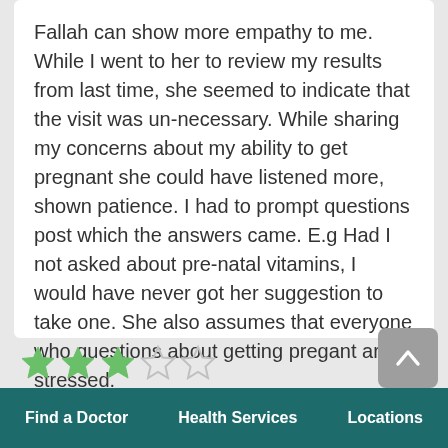Fallah can show more empathy to me. While I went to her to review my results from last time, she seemed to indicate that the visit was un-necessary. While sharing my concerns about my ability to get pregnant she could have listened more, shown patience. I had to prompt questions post which the answers came. E.g Had I not asked about pre-natal vitamins, I would have never got her suggestion to take one. She also assumes that everyone who questions about getting pregant are stressed.
[Figure (other): 3 out of 5 stars rating shown with green filled stars and empty outline stars]
Find a Doctor   Health Services   Locations